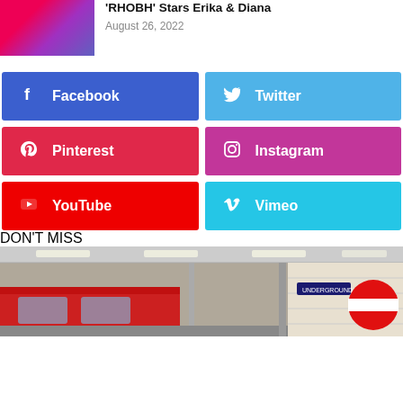'RHOBH' Stars Erika & Diana
August 26, 2022
[Figure (infographic): Social media sharing buttons grid: Facebook (blue), Twitter (light blue), Pinterest (red), Instagram (magenta/pink), YouTube (red), Vimeo (cyan)]
DON'T MISS
[Figure (photo): Photo of a metro/subway station interior with train, ceiling lights, and signage]